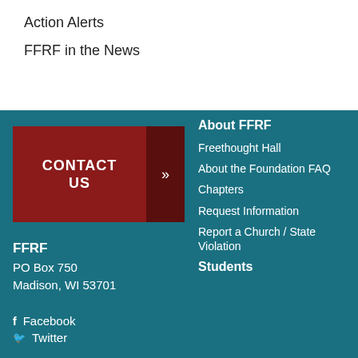Action Alerts
FFRF in the News
[Figure (other): CONTACT US button with dark red background and arrow]
FFRF
PO Box 750
Madison, WI 53701
Facebook
Twitter
About FFRF
Freethought Hall
About the Foundation FAQ
Chapters
Request Information
Report a Church / State Violation
Students